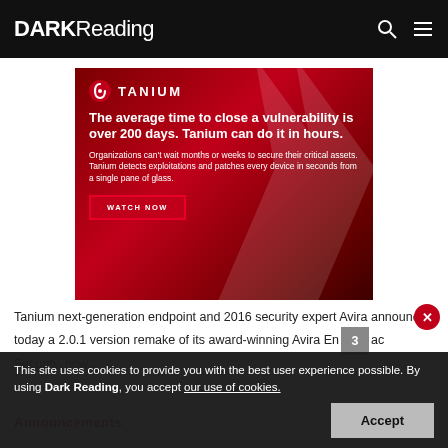DARK Reading
[Figure (infographic): Tanium advertisement with red gradient background. Logo top left. Headline: 'The average time to close a vulnerability is over 200 days. Tanium can do it in hours.' Body: 'Organizations can't wait months or weeks to secure their critical assets. Tanium detects exploitations and patches every device in seconds from a single pane of glass.' Button: 'WATCH NOW']
Tanium next-generation endpoint and 2016 security expert Avira announced today a 2.0.1 version remake of its award-winning Avira Endpoint Security, now...
Announcements
This site uses cookies to provide you with the best user experience possible. By using Dark Reading, you accept our use of cookies.